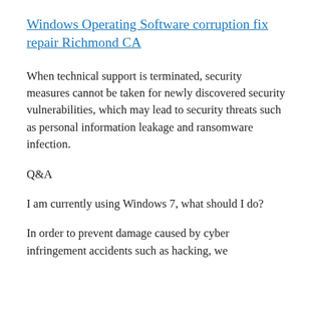Windows Operating Software corruption fix repair Richmond CA
When technical support is terminated, security measures cannot be taken for newly discovered security vulnerabilities, which may lead to security threats such as personal information leakage and ransomware infection.
Q&A
I am currently using Windows 7, what should I do?
In order to prevent damage caused by cyber infringement accidents such as hacking, we